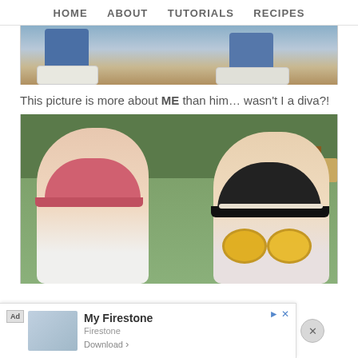HOME   ABOUT   TUTORIALS   RECIPES
[Figure (photo): Partial photo showing bottom portion — legs in jeans and white sneakers, hay or straw in background]
This picture is more about ME than him... wasn't I a diva?!
[Figure (photo): Two young children outdoors. Left child wears a pink baseball cap. Right child wears a black and white bucket hat and round yellow sunglasses. Green trees in background, wooden structure visible.]
Ad  My Firestone  Firestone  Download